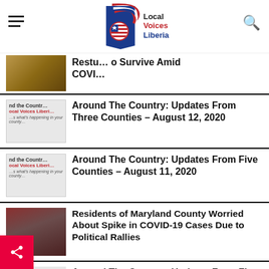Local Voices Liberia
Restaurants Struggle to Survive Amid COVID
Around The Country: Updates From Three Counties – August 12, 2020
Around The Country: Updates From Five Counties – August 11, 2020
Residents of Maryland County Worried About Spike in COVID-19 Cases Due to Political Rallies
Around The Country: Updates From Five Counties – August 10, 2020